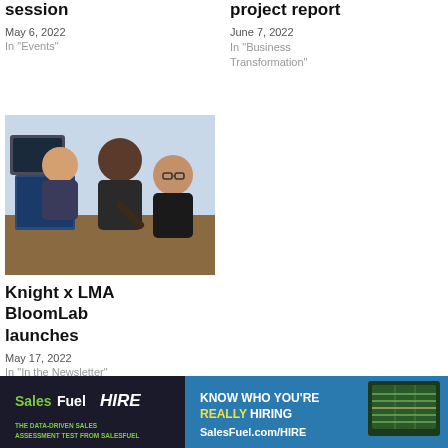session
May 6, 2022
In "Events"
project report
June 7, 2022
In "Business Transformation"
[Figure (photo): Students working together at computers in a classroom setting]
Knight x LMA BloomLab launches
May 17, 2022
In "In the Newsletter"
[Figure (other): SalesFuel HIRE advertisement banner - Know Who You're Really Hiring, SalesFuel.com/HIRE]